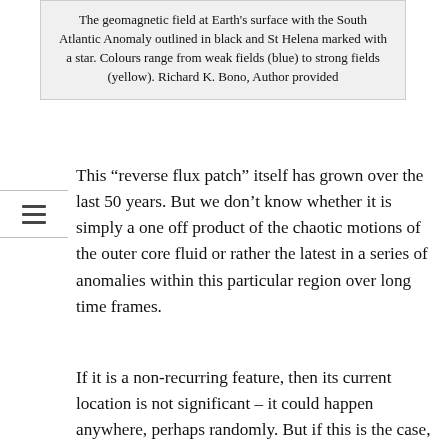The geomagnetic field at Earth's surface with the South Atlantic Anomaly outlined in black and St Helena marked with a star. Colours range from weak fields (blue) to strong fields (yellow). Richard K. Bono, Author provided
This “reverse flux patch” itself has grown over the last 50 years. But we don’t know whether it is simply a one off product of the chaotic motions of the outer core fluid or rather the latest in a series of anomalies within this particular region over long time frames.
If it is a non-recurring feature, then its current location is not significant – it could happen anywhere, perhaps randomly. But if this is the case, the question of whether its increasing size and depth could mark the start of a new reversal remains.
If it is the latest in a string of features reoccurring over millions of years, however, then this would make a reversal less likely. But it would require a specific